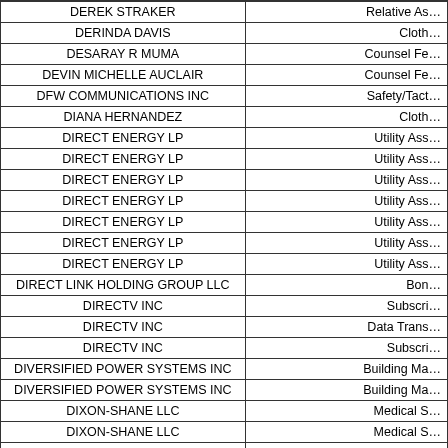| Vendor Name | Category |
| --- | --- |
| DEREK STRAKER | Relative As… |
| DERINDA DAVIS | Cloth… |
| DESARAY R MUMA | Counsel Fe… |
| DEVIN MICHELLE AUCLAIR | Counsel Fe… |
| DFW COMMUNICATIONS INC | Safety/Tact… |
| DIANA HERNANDEZ | Cloth… |
| DIRECT ENERGY LP | Utility Ass… |
| DIRECT ENERGY LP | Utility Ass… |
| DIRECT ENERGY LP | Utility Ass… |
| DIRECT ENERGY LP | Utility Ass… |
| DIRECT ENERGY LP | Utility Ass… |
| DIRECT ENERGY LP | Utility Ass… |
| DIRECT ENERGY LP | Utility Ass… |
| DIRECT LINK HOLDING GROUP LLC | Bon… |
| DIRECTV INC | Subscri… |
| DIRECTV INC | Data Trans… |
| DIRECTV INC | Subscri… |
| DIVERSIFIED POWER SYSTEMS INC | Building Ma… |
| DIVERSIFIED POWER SYSTEMS INC | Building Ma… |
| DIXON-SHANE LLC | Medical S… |
| DIXON-SHANE LLC | Medical S… |
| DJONT/CMB LEASING LLC | Educa… |